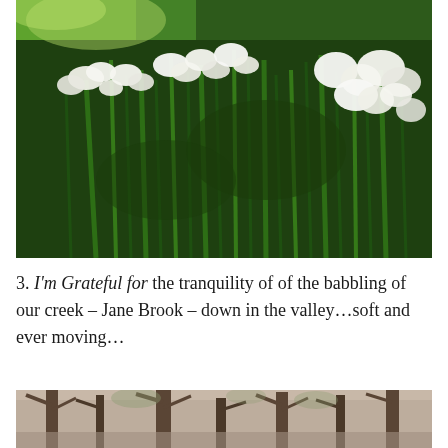[Figure (photo): Photo of white daffodil/narcissus flowers with tall green stalks in a garden, bright sunlight filtering through the leaves.]
3. I'm Grateful for the tranquility of of the babbling of our creek – Jane Brook – down in the valley…soft and ever moving…
[Figure (photo): Photo of trees in a wooded valley area, likely showing Jane Brook area with bare and leafy trees.]